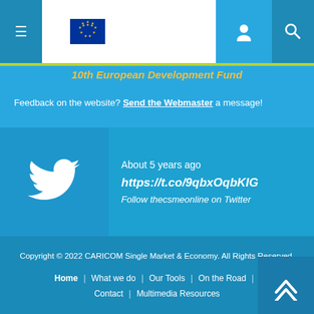Navigation bar with menu, EU flag logo, user icon, and search icon
10th European Development Fund
Feedback on the website? Send the Webmaster a message!
[Figure (infographic): Twitter widget showing: 'About 5 years ago', URL 'https://t.co/9qbxOqbKIG', and 'Follow thecsmeonline on Twitter', with Twitter bird icon on the left]
Copyright © 2022 CARICOM Single Market & Economy. All Rights Reserved.
Home | What we do | Our Tools | On the Road | Contact | Multimedia Resources